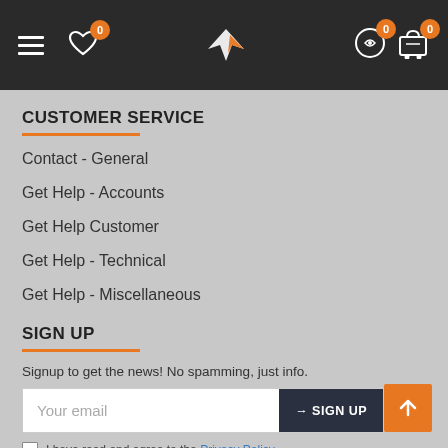Navigation bar with hamburger menu, wishlist (0), logo, compare (0), and cart (0)
CUSTOMER SERVICE
Contact - General
Get Help - Accounts
Get Help Customer
Get Help - Technical
Get Help - Miscellaneous
SIGN UP
Signup to get the news! No spamming, just info.
Your email | SIGN UP button
I have read and agree to the Privacy Policy